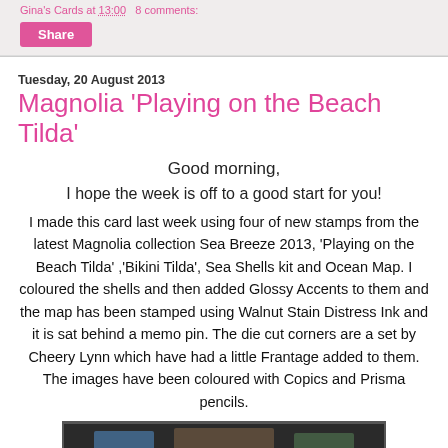Gina's Cards at 13:00   8 comments:
Share
Tuesday, 20 August 2013
Magnolia 'Playing on the Beach Tilda'
Good morning,
I hope the week is off to a good start for you!
I made this card last week using four of new stamps from the latest Magnolia collection Sea Breeze 2013, ‘Playing on the Beach Tilda’ ,‘Bikini Tilda’, Sea Shells kit and Ocean Map. I coloured the shells and then added Glossy Accents to them and the map has been stamped using Walnut Stain Distress Ink and it is sat behind a memo pin. The die cut corners are a set by Cheery Lynn which have had a little Frantage added to them. The images have been coloured with Copics and Prisma pencils.
[Figure (photo): Bottom portion of a craft card image, partially visible, showing a beach-themed card.]